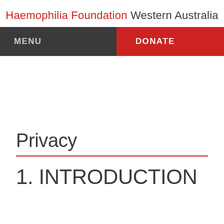Haemophilia Foundation Western Australia
MENU
DONATE
Privacy
1. INTRODUCTION